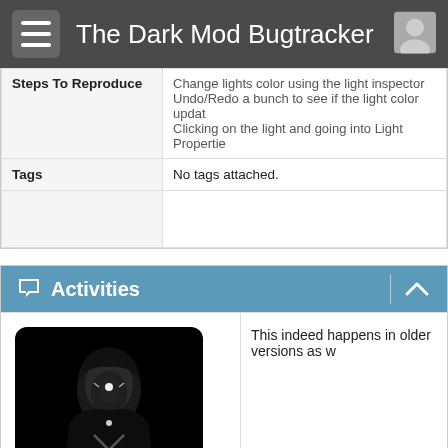The Dark Mod Bugtracker
| Steps To Reproduce |  |
| --- | --- |
| Steps To Reproduce | Change lights color using the light inspector Undo/Redo a bunch to see if the light color updat Clicking on the light and going into Light Propertie |
| Tags | No tags attached. |
|  |  |
Activities
This indeed happens in older versions as w
greebo
17.09.2018 12:53
administrator  −0010760
It appears that this behaviour can only be